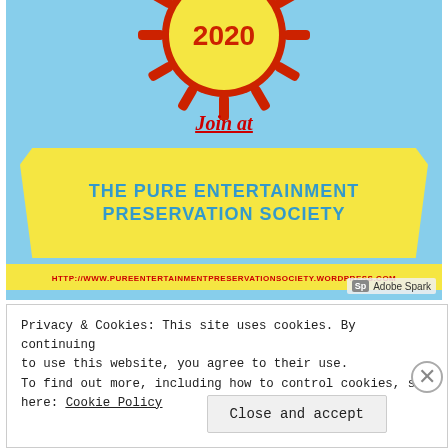[Figure (illustration): A promotional graphic on a light blue background featuring a partial sun/clock graphic at the top with red rays, a 'Join at' italic red underlined text, a yellow banner ribbon with 'THE PURE ENTERTAINMENT PRESERVATION SOCIETY' in bold teal text, and a yellow URL bar at the bottom reading the WordPress URL. Adobe Spark badge in bottom-right corner.]
Privacy & Cookies: This site uses cookies. By continuing to use this website, you agree to their use.
To find out more, including how to control cookies, see here: Cookie Policy
Close and accept